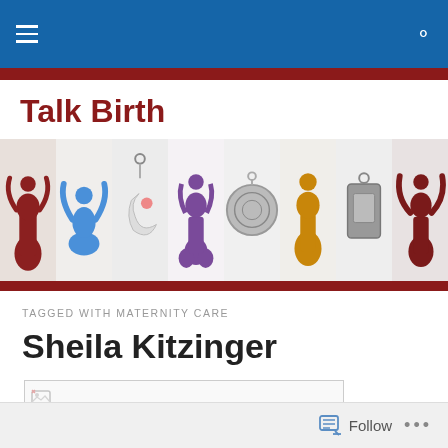Talk Birth – navigation bar
Talk Birth
[Figure (photo): Horizontal strip of 8 small figurine/charm photos: red goddess figure, blue bird figure, moon pendant, purple goddess figure, metal disc charm, gold goddess figure, metal tag charm, dark red angel figure]
TAGGED WITH MATERNITY CARE
Sheila Kitzinger
[Figure (photo): Broken/loading image placeholder thumbnail]
Follow   ...